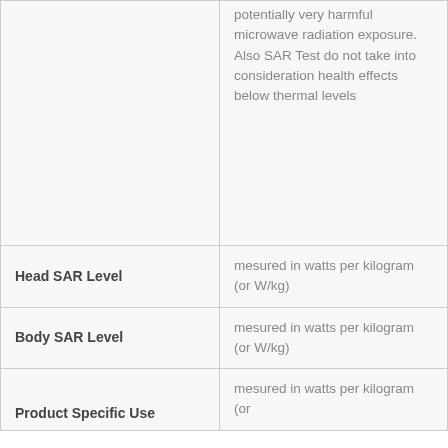| Term | Description |
| --- | --- |
|  | potentially very harmful microwave radiation exposure. Also SAR Test do not take into consideration health effects below thermal levels |
| Head SAR Level | mesured in watts per kilogram (or W/kg) |
| Body SAR Level | mesured in watts per kilogram (or W/kg) |
| Product Specific Use | mesured in watts per kilogram (or |